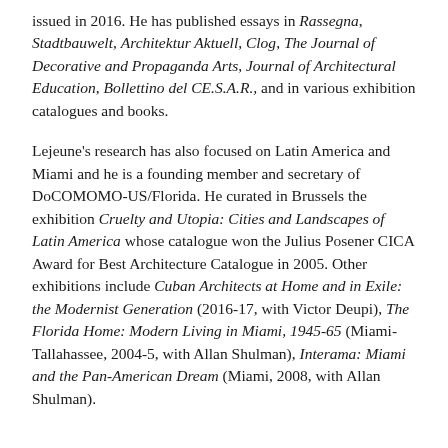issued in 2016. He has published essays in Rassegna, Stadtbauwelt, Architektur Aktuell, Clog, The Journal of Decorative and Propaganda Arts, Journal of Architectural Education, Bollettino del CE.S.A.R., and in various exhibition catalogues and books.
Lejeune's research has also focused on Latin America and Miami and he is a founding member and secretary of DoCOMOMO-US/Florida. He curated in Brussels the exhibition Cruelty and Utopia: Cities and Landscapes of Latin America whose catalogue won the Julius Posener CICA Award for Best Architecture Catalogue in 2005. Other exhibitions include Cuban Architects at Home and in Exile: the Modernist Generation (2016-17, with Victor Deupi), The Florida Home: Modern Living in Miami, 1945-65 (Miami-Tallahassee, 2004-5, with Allan Shulman), Interama: Miami and the Pan-American Dream (Miami, 2008, with Allan Shulman).